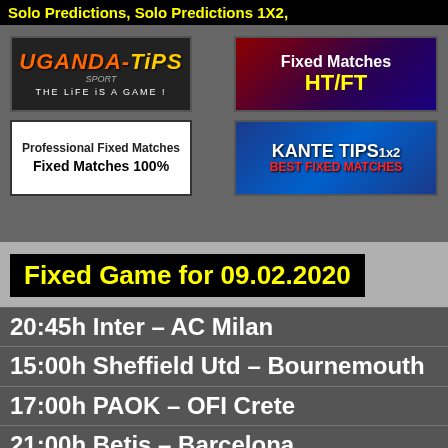Solo Predictions, Solo Predictions 1X2,
[Figure (logo): Uganda-Tips Sport logo - orange and yellow text on dark background, 'THE LIFE IS A GAME!']
[Figure (logo): Fixed Matches HT/FT banner - white and yellow text on dark red/purple gradient]
[Figure (logo): Professional Fixed Matches - Fixed Matches 100% white box with black text]
[Figure (logo): KANTE TIPS 1x2 BEST FIXED MATCHES - blue banner with soccer player]
Fixed Game for 09.02.2020
20:45h Inter – AC Milan
15:00h Sheffield Utd – Bournemouth
17:00h PAOK – OFI Crete
21:00h Betis – Barcelona
12:30h Spal – Sassuolo